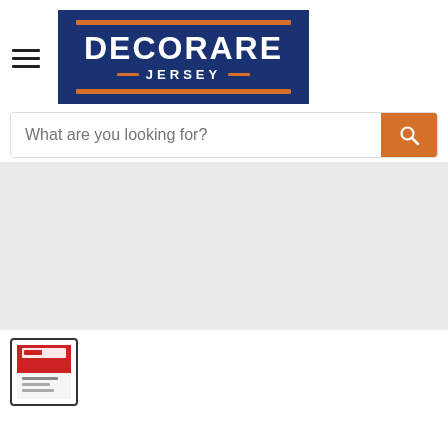[Figure (logo): Decorare Jersey logo: dark navy blue rectangle with orange horizontal bars at top and bottom, white bold text DECORARE above white smaller text JERSEY flanked by orange lines]
[Figure (screenshot): Search bar with placeholder text 'What are you looking for?' and orange search button with magnifier icon on the right]
[Figure (photo): Large grey empty area representing a product image placeholder]
[Figure (photo): Small thumbnail image of a product with red and white packaging, shown in bottom left corner]